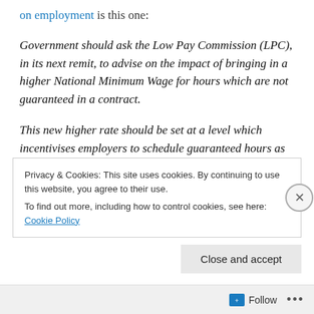on employment is this one:
Government should ask the Low Pay Commission (LPC), in its next remit, to advise on the impact of bringing in a higher National Minimum Wage for hours which are not guaranteed in a contract.
This new higher rate should be set at a level which incentivises employers to schedule guaranteed hours as far as reasonable within their business. Businesses would still have the ability to offer zero or short-hours contracts,
Privacy & Cookies: This site uses cookies. By continuing to use this website, you agree to their use.
To find out more, including how to control cookies, see here: Cookie Policy
Close and accept